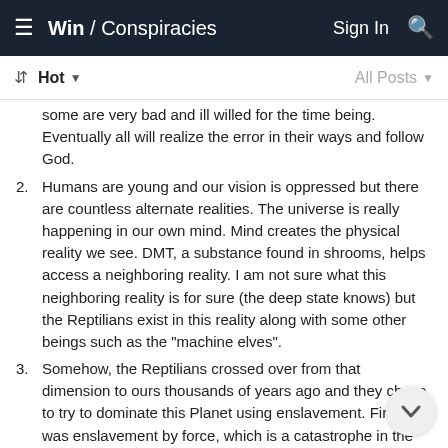Win / Conspiracies   Sign In
Hot   All Posts
some are very bad and ill willed for the time being. Eventually all will realize the error in their ways and follow God.
2. Humans are young and our vision is oppressed but there are countless alternate realities. The universe is really happening in our own mind. Mind creates the physical reality we see. DMT, a substance found in shrooms, helps access a neighboring reality. I am not sure what this neighboring reality is for sure (the deep state knows) but the Reptilians exist in this reality along with some other beings such as the "machine elves".
3. Somehow, the Reptilians crossed over from that dimension to ours thousands of years ago and they chose to try to dominate this Planet using enslavement. First it was enslavement by force, which is a catastrophe in the long run. Second was enslavement through money and banking. They established positions of Power in the hierarchy of Egypt and now spread around the world. The